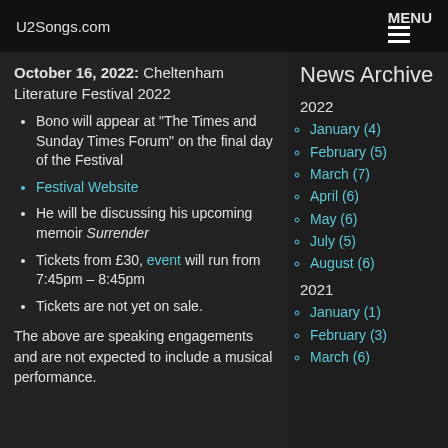U2Songs.com  MENU
News Archive
October 16, 2022: Cheltenham Literature Festival 2022
Bono will appear at “The Times and Sunday Times Forum” on the final day of the Festival
Festival Website
He will be discussing his upcoming memoir Surrender
Tickets from £30, event will run from 7:45pm – 8:45pm
Tickets are not yet on sale.
The above are speaking engagements and are not expected to include a musical performance.
2022
January (4)
February (5)
March (7)
April (6)
May (6)
July (5)
August (6)
2021
January (1)
February (3)
March (6)